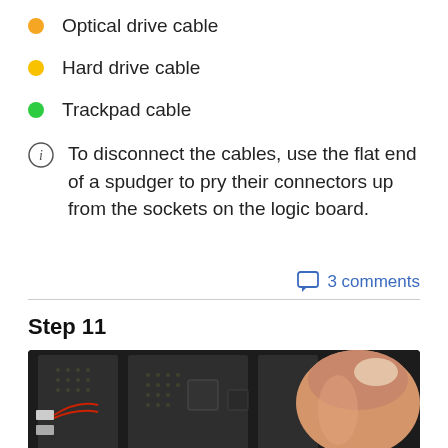Optical drive cable
Hard drive cable
Trackpad cable
To disconnect the cables, use the flat end of a spudger to pry their connectors up from the sockets on the logic board.
3 comments
Step 11
[Figure (photo): Close-up photo of a logic board with electronic components and a finger touching it, showing cable connectors and chips on a dark PCB.]